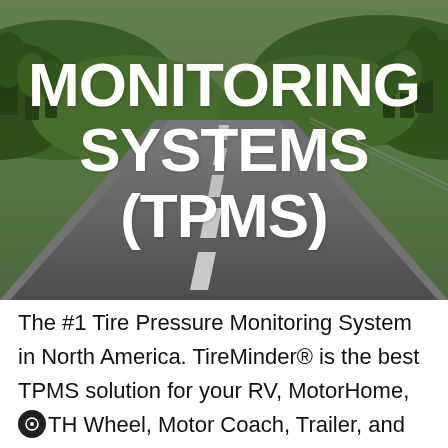[Figure (photo): Aerial perspective photo of a road stretching into the distance with green rolling hills and trees on both sides, overlaid with large white bold text reading MONITORING SYSTEMS (TPMS)]
MONITORING SYSTEMS (TPMS)
The #1 Tire Pressure Monitoring System in North America. TireMinder® is the best TPMS solution for your RV, MotorHome, 5TH Wheel, Motor Coach, Trailer, and more.